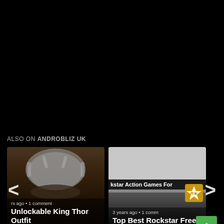[Figure (screenshot): Black background area (video/ad area)]
ALSO ON ANDROBLIZ UK
[Figure (screenshot): Card showing a Viking warrior with horned helmet, caption reads: rs ago • 1 comment, Unlockable King Thor Outfit]
[Figure (screenshot): Card showing Rockstar Games content with banner text 'kstar Action Games For', caption reads: 3 years ago • 1 comm, Top Best Rockstar Free]